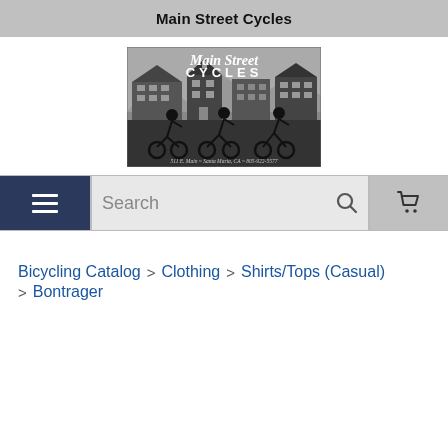Main Street Cycles
[Figure (logo): Main Street Cycles logo: black and white illustration with cursive 'Main Street' script, bold 'CYCLES' text, city skyline silhouette background, three cyclists in foreground, and address '511 E. Main ~ Santa Maria, CA ~ 805-922-5577' at bottom.]
Search [navigation bar with menu, search, and cart buttons]
Bicycling Catalog > Clothing > Shirts/Tops (Casual) > Bontrager